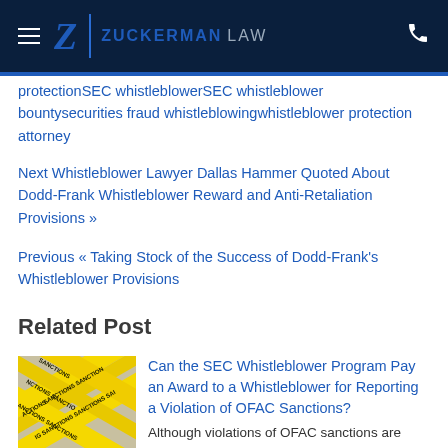Zuckerman Law
protectionSEC whistleblowerSEC whistleblower bountysecurities fraud whistleblowingwhistleblower protection attorney
Next Whistleblower Lawyer Dallas Hammer Quoted About Dodd-Frank Whistleblower Reward and Anti-Retaliation Provisions »
Previous « Taking Stock of the Success of Dodd-Frank's Whistleblower Provisions
Related Post
[Figure (photo): Yellow SANCTIONS caution tape crossed over each other]
Can the SEC Whistleblower Program Pay an Award to a Whistleblower for Reporting a Violation of OFAC Sanctions?
Although violations of OFAC sanctions are enforced primarily by the Office of Foreign Assets